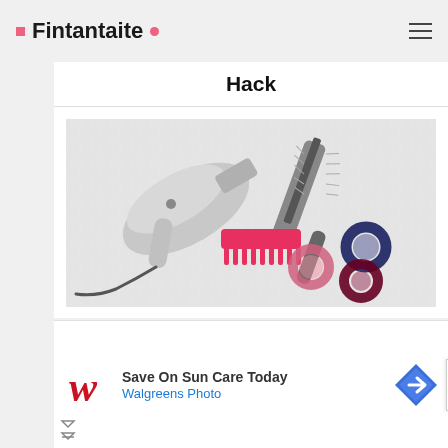Fintantaite
Hack
[Figure (photo): Hair styling tools laid on a white fluffy surface: a silver hair dryer, a round barrel brush, a pink comb, and three scrunchies (pink, navy blue, dark red)]
[Figure (infographic): Social share buttons: Facebook (blue), Twitter (cyan), Email/envelope (grey), Pinterest (red), Plus/more (orange-red)]
[Figure (other): Advertisement banner: Walgreens logo with cursive W in red, text 'Save On Sun Care Today' and 'Walgreens Photo' in blue, with a navigation arrow icon on the right]